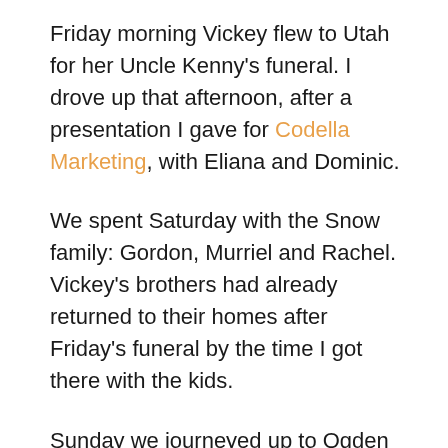Friday morning Vickey flew to Utah for her Uncle Kenny's funeral. I drove up that afternoon, after a presentation I gave for Codella Marketing, with Eliana and Dominic.
We spent Saturday with the Snow family: Gordon, Murriel and Rachel. Vickey's brothers had already returned to their homes after Friday's funeral by the time I got there with the kids.
Sunday we journeyed up to Ogden to participate in the baby naming and blessing for cute little Autumn Brooke Jensen, daughter of Preston and Amy Jensen (Amy is the daughter of Vickey's cousin).
On our drive home yesterday we stopped in